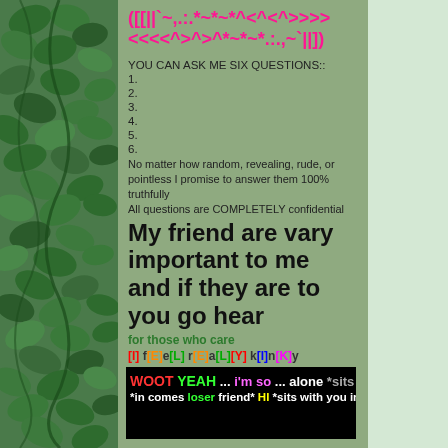[Figure (illustration): Ivy leaf border on left side of page]
([[||`~,.:.*~*~*^<^<^>>>>><<<< ^>^>^*~*~*.:.,~`||])
YOU CAN ASK ME SIX QUESTIONS::
1.
2.
3.
4.
5.
6.
No matter how random, revealing, rude, or pointless I promise to answer them 100% truthfully
All questions are COMPLETELY confidential
My friend are vary important to me and if they are to you go hear
for those who care
[I] f[E]e[L] r[E]a[L][Y] k[I]n[K]y
[Figure (screenshot): Black banner with colorful text: WOOT YEAH ... i'm so ... alone *sits in co / *in comes loser friend* HI *sits with you in c]